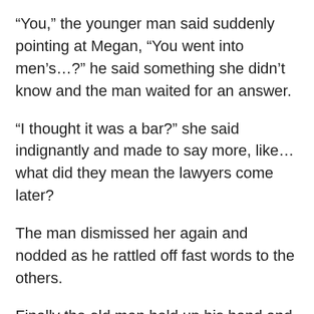“You,” the younger man said suddenly pointing at Megan, “You went into men’s…?” he said something she didn’t know and the man waited for an answer.
“I thought it was a bar?” she said indignantly and made to say more, like… what did they mean the lawyers come later?
The man dismissed her again and nodded as he rattled off fast words to the others.
Finally the old man held up his hand and glared at Megan as if she were something he might have stepped in. He said a few brief words and then stood up and left.
“What happened?” Megan wailed.
Ignoring her the younger man shook hands with the